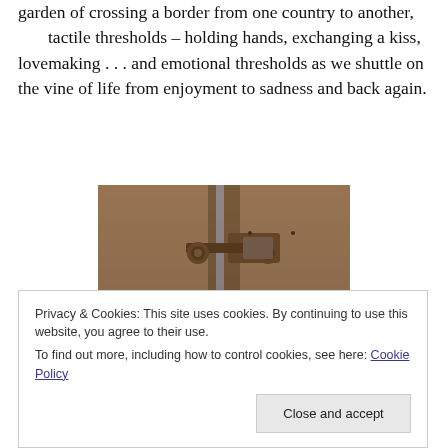garden of crossing a border from one country to another, tactile thresholds – holding hands, exchanging a kiss, lovemaking . . . and emotional thresholds as we shuttle on the vine of life from enjoyment to sadness and back again.
[Figure (photo): Close-up photograph of a door latch or bolt mechanism, brownish-copper toned metal hardware on a door frame]
Privacy & Cookies: This site uses cookies. By continuing to use this website, you agree to their use. To find out more, including how to control cookies, see here: Cookie Policy